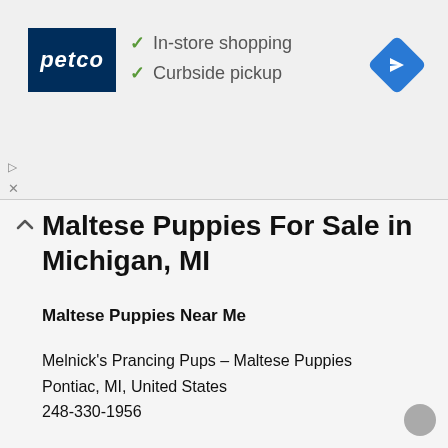[Figure (screenshot): Petco advertisement banner with logo, checkmarks for In-store shopping and Curbside pickup, and a blue navigation diamond icon]
Maltese Puppies For Sale in Michigan, MI
Maltese Puppies Near Me
Melnick's Prancing Pups – Maltese Puppies
Pontiac, MI, United States
248-330-1956
Happy Tail Acres – Maltese Puppies
Jackson, MI, United States